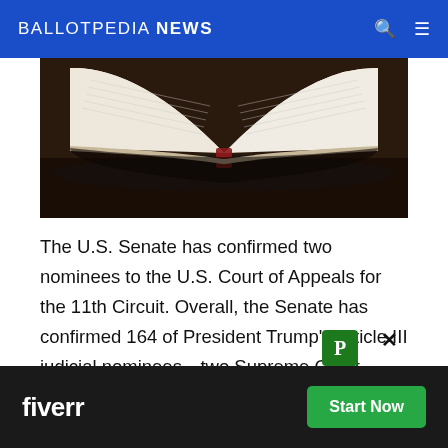BALLOTPEDIA NEWS
[Figure (photo): An open hardcover book photographed from above, showing white pages fanned open with a red spine visible at the center, resting on a dark wooden surface.]
The U.S. Senate has confirmed two nominees to the U.S. Court of Appeals for the 11th Circuit. Overall, the Senate has confirmed 164 of President Trump's Article III judicial nominees—two Supreme Court justices, 48 appellate court judges, 112 district court judges, and two U.S. Court of International Trade judges—since January 2017. At the end of the 115th Congress in January [2019, there were X vacancies among the] president's judicial nominees.